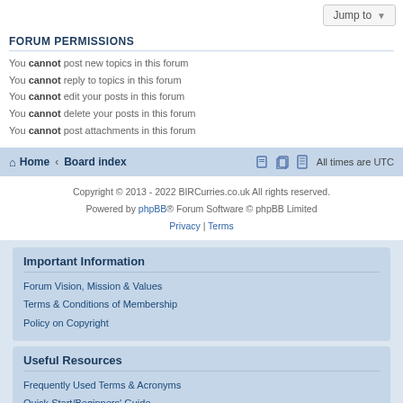FORUM PERMISSIONS
You cannot post new topics in this forum
You cannot reply to topics in this forum
You cannot edit your posts in this forum
You cannot delete your posts in this forum
You cannot post attachments in this forum
Home · Board index   All times are UTC
Copyright © 2013 - 2022 BIRCurries.co.uk All rights reserved.
Powered by phpBB® Forum Software © phpBB Limited
Privacy | Terms
Important Information
Forum Vision, Mission & Values
Terms & Conditions of Membership
Policy on Copyright
Useful Resources
Frequently Used Terms & Acronyms
Quick Start/Beginners' Guide
Newsletters